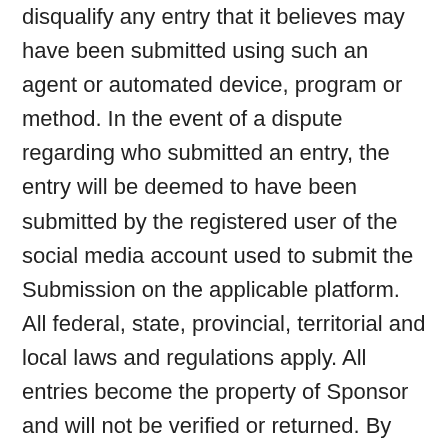disqualify any entry that it believes may have been submitted using such an agent or automated device, program or method. In the event of a dispute regarding who submitted an entry, the entry will be deemed to have been submitted by the registered user of the social media account used to submit the Submission on the applicable platform. All federal, state, provincial, territorial and local laws and regulations apply. All entries become the property of Sponsor and will not be verified or returned. By participating in this Sweepstakes, entrants on behalf of themselves, and to the extent permitted by law on behalf of the Entrant Parties agree to be bound by these Official Rules and the decisions of